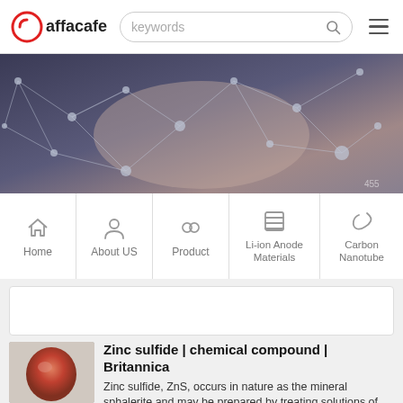Yaffacafe | keywords search
[Figure (photo): Hero banner image showing hands stacked together with network/connection overlay graphic]
[Figure (infographic): Navigation bar with icons: Home, About US, Product, Li-ion Anode Materials, Carbon Nanotube]
[Figure (photo): Thumbnail image of a reddish-orange mineral specimen (zinc sulfide)]
Zinc sulfide | chemical compound | Britannica
Zinc sulfide, ZnS, occurs in nature as the mineral sphalerite and may be prepared by treating solutions of zinc salts with hydrogen sulfide; it also occurs as a by-product in it...